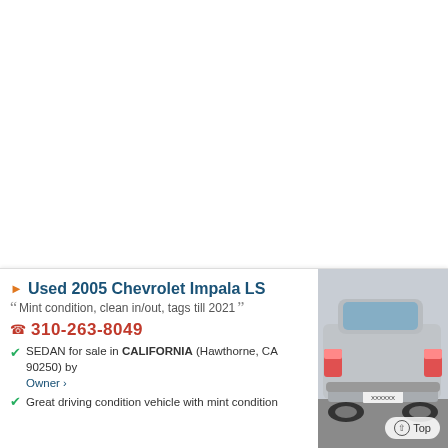Used 2005 Chevrolet Impala LS
Mint condition, clean in/out, tags till 2021
310-263-8049
SEDAN for sale in CALIFORNIA (Hawthorne, CA 90250) by Owner
[Figure (photo): Rear view of a silver 2005 Chevrolet Impala LS sedan parked in a lot]
Great driving condition vehicle with mint condition